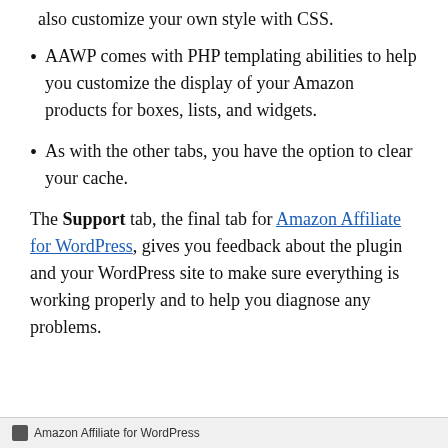also customize your own style with CSS.
AAWP comes with PHP templating abilities to help you customize the display of your Amazon products for boxes, lists, and widgets.
As with the other tabs, you have the option to clear your cache.
The Support tab, the final tab for Amazon Affiliate for WordPress, gives you feedback about the plugin and your WordPress site to make sure everything is working properly and to help you diagnose any problems.
Amazon Affiliate for WordPress